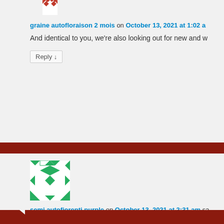[Figure (illustration): Red geometric avatar icon (partially visible at top)]
graine autofloraison 2 mois on October 13, 2021 at 1:02 a
And identical to you, we're also looking out for new and w
Reply ↓
[Figure (illustration): Green geometric avatar icon (diamond/arrow pattern)]
semi autofiorenti purple on October 13, 2021 at 2:31 am sa
For this purpose, it's also often really helpful to keep awa from using a humidity dome with seedlings except your air is dry.
Reply ↓
[Figure (illustration): Green geometric avatar icon (partially visible at bottom)]